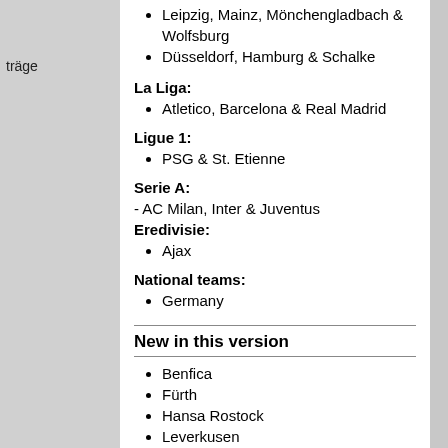Leipzig, Mainz, Mönchengladbach & Wolfsburg
Düsseldorf, Hamburg & Schalke
La Liga:
Atletico, Barcelona & Real Madrid
Ligue 1:
PSG & St. Etienne
Serie A:
- AC Milan, Inter & Juventus
Eredivisie:
Ajax
National teams:
Germany
New in this version
Benfica
Fürth
Hansa Rostock
Leverkusen
Porto